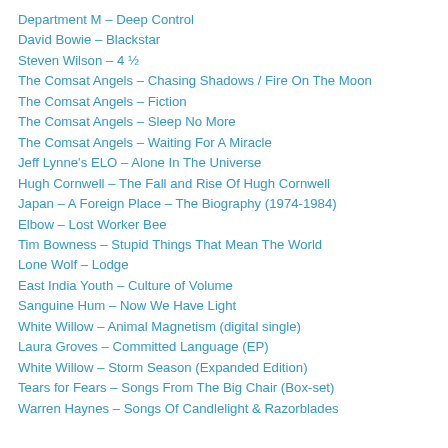Department M – Deep Control
David Bowie – Blackstar
Steven Wilson – 4 ½
The Comsat Angels – Chasing Shadows / Fire On The Moon
The Comsat Angels – Fiction
The Comsat Angels – Sleep No More
The Comsat Angels – Waiting For A Miracle
Jeff Lynne's ELO – Alone In The Universe
Hugh Cornwell – The Fall and Rise Of Hugh Cornwell
Japan – A Foreign Place – The Biography (1974-1984)
Elbow – Lost Worker Bee
Tim Bowness – Stupid Things That Mean The World
Lone Wolf – Lodge
East India Youth – Culture of Volume
Sanguine Hum – Now We Have Light
White Willow – Animal Magnetism (digital single)
Laura Groves – Committed Language (EP)
White Willow – Storm Season (Expanded Edition)
Tears for Fears – Songs From The Big Chair (Box-set)
Warren Haynes – Songs Of Candlelight & Razorblades